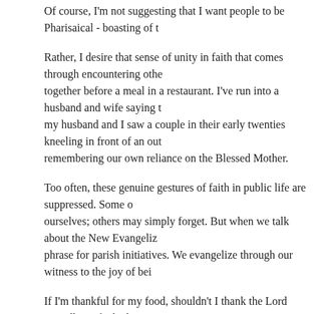Of course, I'm not suggesting that I want people to be Pharisaical - boasting of t...
Rather, I desire that sense of unity in faith that comes through encountering othe... together before a meal in a restaurant. I've run into a husband and wife saying t... my husband and I saw a couple in their early twenties kneeling in front of an out... remembering our own reliance on the Blessed Mother.
Too often, these genuine gestures of faith in public life are suppressed. Some o... ourselves; others may simply forget. But when we talk about the New Evangeliz... phrase for parish initiatives. We evangelize through our witness to the joy of bei...
If I'm thankful for my food, shouldn't I thank the Lord regardless of whether I eat... what I did this weekend, should I neglect to mention that I went to Mass with my...
We may not each be called to put signs on the road with witticisms and invitatio... society that increasingly devalues religion and the centrality of faith to our lives,... given by Christ.
This article has been reprinted here by permission of the author after original pu... Diocese of Arlington.
comments powered by Disqus